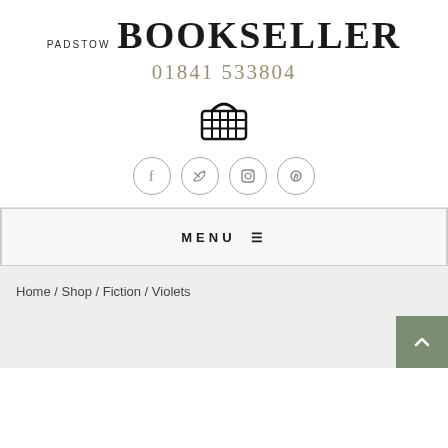PADSTOW BOOKSELLER
01841 533804
[Figure (illustration): Shopping basket icon]
[Figure (illustration): Social media icons: Facebook, Twitter, Instagram, Pinterest]
MENU ≡
Home / Shop / Fiction / Violets